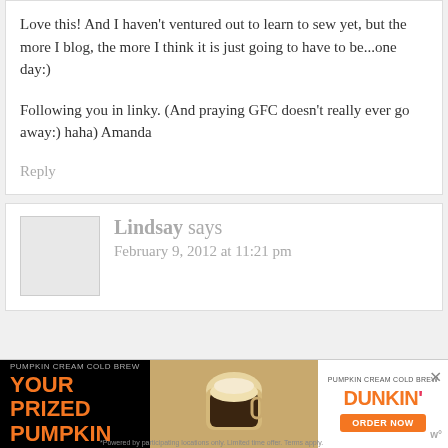Love this! And I haven't ventured out to learn to sew yet, but the more I blog, the more I think it is just going to have to be...one day:)

Following you in linky. (And praying GFC doesn't really ever go away:) haha)
Amanda
Reply
Lindsay says
February 9, 2012 at 11:21 pm
[Figure (other): Dunkin' Pumpkin Cream Cold Brew advertisement banner. Black section with orange text 'YOUR PRIZED PUMPKIN', center image of cold brew coffee drink, right section with Dunkin' logo and orange ORDER NOW button. Close X button top right.]